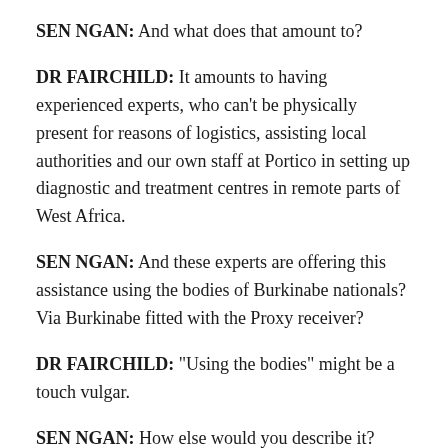SEN NGAN: And what does that amount to?
DR FAIRCHILD: It amounts to having experienced experts, who can't be physically present for reasons of logistics, assisting local authorities and our own staff at Portico in setting up diagnostic and treatment centres in remote parts of West Africa.
SEN NGAN: And these experts are offering this assistance using the bodies of Burkinabe nationals? Via Burkinabe fitted with the Proxy receiver?
DR FAIRCHILD: "Using the bodies" might be a touch vulgar.
SEN NGAN: How else would you describe it?
DR FAIRCHILD: I don't -- your characterisation is technically sound.